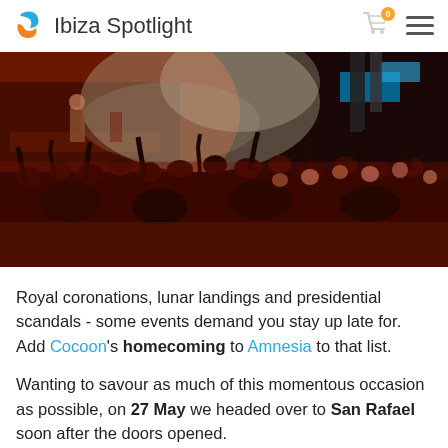Ibiza Spotlight
[Figure (photo): Crowded nightclub scene with raised hands, smoke effects, and red-orange lighting. A stage with performers is visible on the left.]
Royal coronations, lunar landings and presidential scandals - some events demand you stay up late for. Add Cocoon's homecoming to Amnesia to that list.
Wanting to savour as much of this momentous occasion as possible, on 27 May we headed over to San Rafael soon after the doors opened.